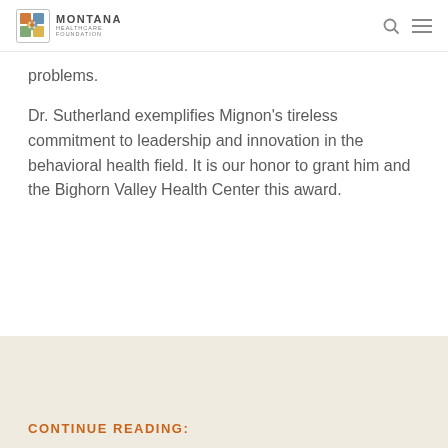MONTANA HEALTHCARE FOUNDATION
problems.
Dr. Sutherland exemplifies Mignon’s tireless commitment to leadership and innovation in the behavioral health field. It is our honor to grant him and the Bighorn Valley Health Center this award.
CONTINUE READING: